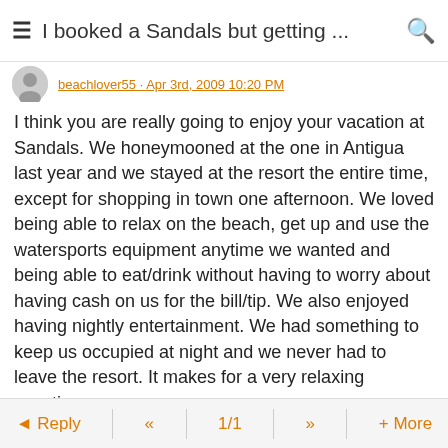I booked a Sandals but getting ...
beachlover55 · Apr 3rd, 2009 10:20 PM
I think you are really going to enjoy your vacation at Sandals. We honeymooned at the one in Antigua last year and we stayed at the resort the entire time, except for shopping in town one afternoon. We loved being able to relax on the beach, get up and use the watersports equipment anytime we wanted and being able to eat/drink without having to worry about having cash on us for the bill/tip. We also enjoyed having nightly entertainment. We had something to keep us occupied at night and we never had to leave the resort. It makes for a very relaxing vacation.
As long as having a spectacular meal every night is not a must, I think that Sandals is great. Espeically with the 35% discount they offering right now. You will enjoy the concierge service also. Be sure and visit Sandals Royal Caribbean
Reply  <<  1/1  >>  + More